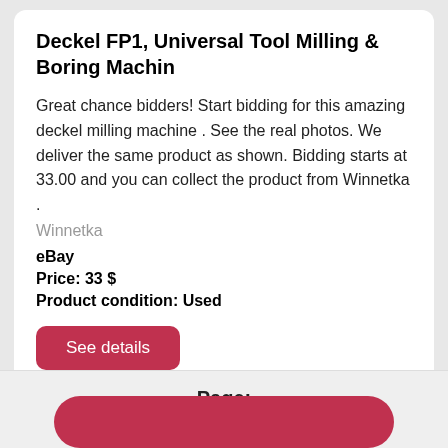Deckel FP1, Universal Tool Milling & Boring Machin
Great chance bidders! Start bidding for this amazing deckel milling machine . See the real photos. We deliver the same product as shown. Bidding starts at 33.00 and you can collect the product from Winnetka .
Winnetka
eBay
Price: 33 $
Product condition: Used
See details
Page: